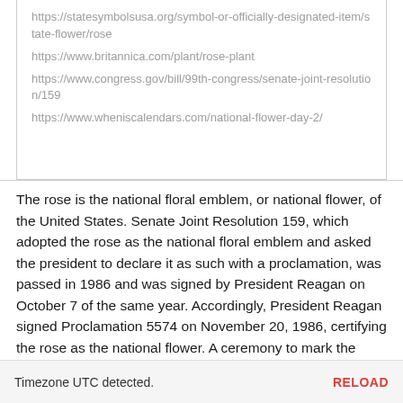https://statesymbolsusa.org/symbol-or-officially-designated-item/state-flower/rose
https://www.britannica.com/plant/rose-plant
https://www.congress.gov/bill/99th-congress/senate-joint-resolution/159
https://www.wheniscalendars.com/national-flower-day-2/
The rose is the national floral emblem, or national flower, of the United States. Senate Joint Resolution 159, which adopted the rose as the national floral emblem and asked the president to declare it as such with a proclamation, was passed in 1986 and was signed by President Reagan on October 7 of the same year. Accordingly, President Reagan signed Proclamation 5574 on November 20, 1986, certifying the rose as the national flower. A ceremony to mark the occasion took place in the White House Rose Garden. Therefore, the
Timezone UTC detected.  RELOAD